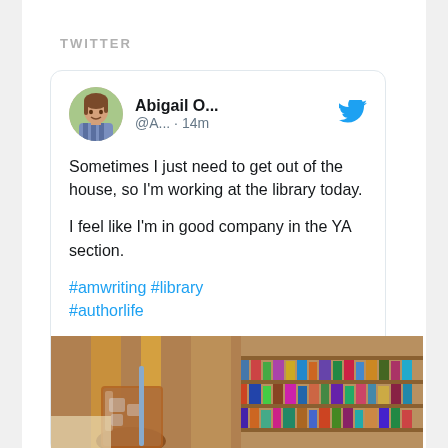TWITTER
Abigail O... @A... · 14m
Sometimes I just need to get out of the house, so I'm working at the library today.

I feel like I'm in good company in the YA section.

#amwriting #library #authorlife
[Figure (photo): Photo of a library interior with bookshelves and a drink with a straw on a table in the foreground]